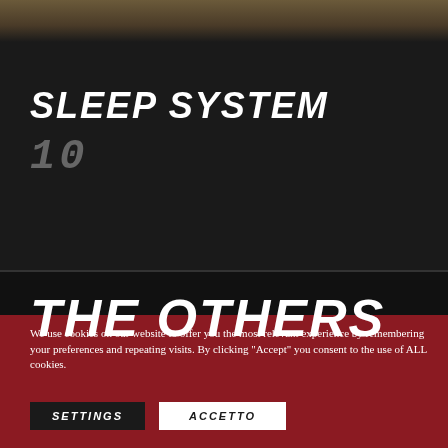[Figure (photo): Partial photo at top of page showing fabric/textile texture in brown/tan tones]
SLEEP SYSTEM
10
THE OTHERS
We use cookies on our website to offer you the most relevant experience by remembering your preferences and repeating visits. By clicking "Accept" you consent to the use of ALL cookies.
SETTINGS
ACCETTO